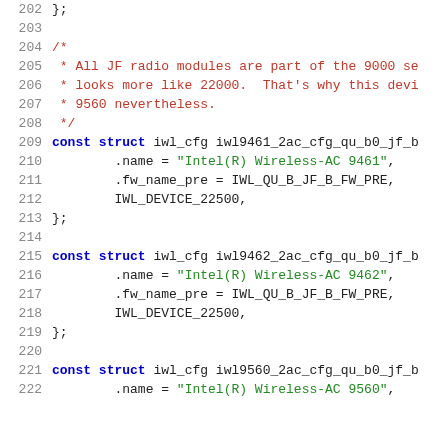source code listing lines 202-222, C language kernel driver code for Intel wireless devices